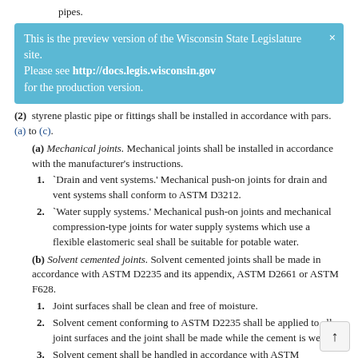pipes.
This is the preview version of the Wisconsin State Legislature site. Please see http://docs.legis.wisconsin.gov for the production version.
(2) styrene plastic pipe or fittings shall be installed in accordance with pars. (a) to (c).
(a) Mechanical joints. Mechanical joints shall be installed in accordance with the manufacturer's instructions.
1. `Drain and vent systems.' Mechanical push-on joints for drain and vent systems shall conform to ASTM D3212.
2. `Water supply systems.' Mechanical push-on joints and mechanical compression-type joints for water supply systems which use a flexible elastomeric seal shall be suitable for potable water.
(b) Solvent cemented joints. Solvent cemented joints shall be made in accordance with ASTM D2235 and its appendix, ASTM D2661 or ASTM F628.
1. Joint surfaces shall be clean and free of moisture.
2. Solvent cement conforming to ASTM D2235 shall be applied to all joint surfaces and the joint shall be made while the cement is wet.
3. Solvent cement shall be handled in accordance with AS [cut off]